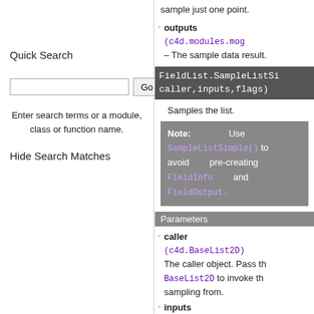Quick Search
Enter search terms or a module, class or function name.
Hide Search Matches
sample just one point.
outputs (c4d.modules.mog – The sample data result.
FieldList.SampleListSi caller,inputs,flags)
Samples the list.
Note: Use SampleListSimple() to avoid pre-creating FieldInfo and FieldOutput.
Parameters
caller (c4d.BaseList2D) – The caller object. Pass the BaseList2D to invoke the sampling from.
inputs (c4d.modules.mog – The inputs to sample from
flags (int) – The channels to sample:
FIELDSAMPLE_FL
FIELDSAMPLE_FL